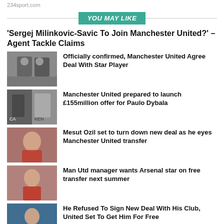234sport.com
YOU MAY LIKE
'Sergej Milinkovic-Savic To Join Manchester United?' – Agent Tackle Claims
Officially confirmed, Manchester United Agree Deal With Star Player
Manchester United prepared to launch £155million offer for Paulo Dybala
Mesut Ozil set to turn down new deal as he eyes Manchester United transfer
Man Utd manager wants Arsenal star on free transfer next summer
He Refused To Sign New Deal With His Club, United Set To Get Him For Free